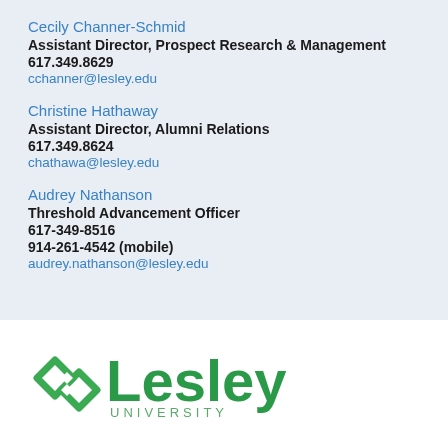Cecily Channer-Schmid
Assistant Director, Prospect Research & Management
617.349.8629
cchanner@lesley.edu
Christine Hathaway
Assistant Director, Alumni Relations
617.349.8624
chathawa@lesley.edu
Audrey Nathanson
Threshold Advancement Officer
617-349-8516
914-261-4542 (mobile)
audrey.nathanson@lesley.edu
[Figure (logo): Lesley University logo with green diamond shape and green text reading 'Lesley UNIVERSITY']